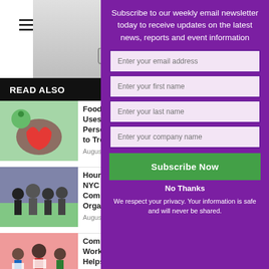[Figure (screenshot): Hamburger menu icon (three horizontal lines) in the top-left of the white left panel]
[Figure (screenshot): Top image strip showing partial article image with chat/comment icons]
READ ALSO
[Figure (photo): Thumbnail of food in a heart-shaped bowl with an apple]
Foodio Uses Person to Tre
August
[Figure (photo): Thumbnail of a family group photo]
Hour C NYC Fo Comm Organ
August 2
[Figure (photo): Thumbnail of community members holding signs]
Comm Works Helps i
Subscribe to our weekly email newsletter today to receive updates on the latest news, reports and event information
Enter your email address
Enter your first name
Enter your last name
Enter your company name
Subscribe Now
No Thanks
We respect your privacy. Your information is safe and will never be shared.